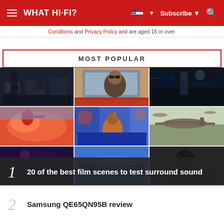WHAT HI-FI? | Subscribe | Search
Conditions and Privacy Policy and are aged 16 or over.
MOST POPULAR
[Figure (photo): 3x3 grid of movie/film scene thumbnails including action, Baby Driver, Blade Runner, Spider-Man, Mulan, and WWII aircraft scenes]
1  20 of the best film scenes to test surround sound
2  Samsung QE65QN95B review